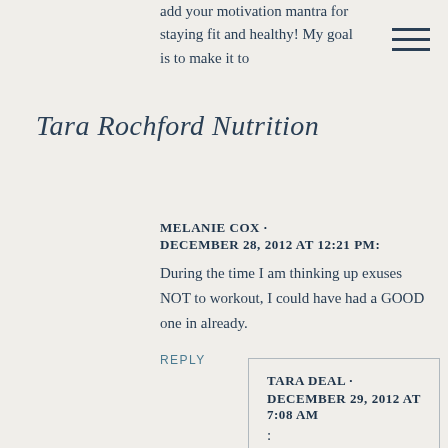add your motivation mantra for staying fit and healthy!  My goal is to make it to
[Figure (other): Hamburger menu icon with three horizontal lines]
Tara Rochford Nutrition
MELANIE COX ·
DECEMBER 28, 2012 AT 12:21 PM:
During the time I am thinking up exuses NOT to workout, I could have had a GOOD one in already.
REPLY
TARA DEAL ·
DECEMBER 29, 2012 AT 7:08 AM
: